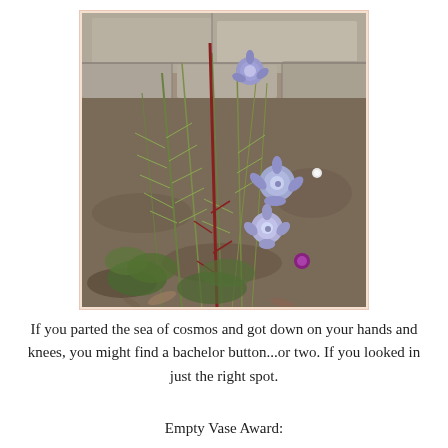[Figure (photo): Outdoor garden photo showing cosmos plants with feathery green foliage and a tall red stem, with blue/purple bachelor button flowers visible, against a background of stone and bare soil.]
If you parted the sea of cosmos and got down on your hands and knees, you might find a bachelor button...or two. If you looked in just the right spot.
Empty Vase Award: